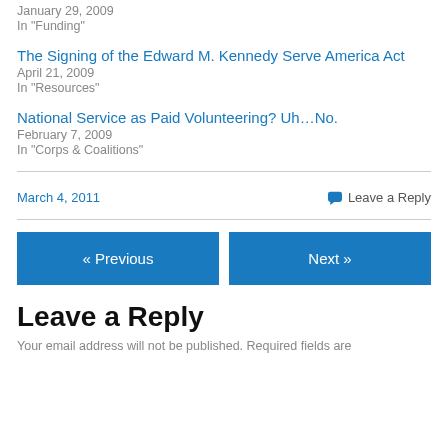January 29, 2009
In "Funding"
The Signing of the Edward M. Kennedy Serve America Act
April 21, 2009
In "Resources"
National Service as Paid Volunteering? Uh…No.
February 7, 2009
In "Corps & Coalitions"
March 4, 2011    Leave a Reply
« Previous    Next »
Leave a Reply
Your email address will not be published. Required fields are